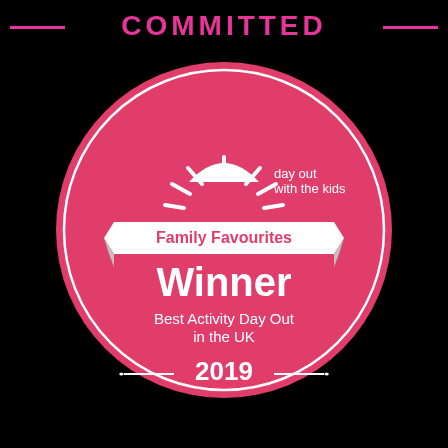COMMITTED
[Figure (logo): Day Out With The Kids Family Favourites Winner badge - a circular pink/red badge with white sun logo, white banner reading 'Family Favourites', large text 'Winner', 'Best Activity Day Out in the UK', and '2019' at the bottom with decorative lines.]